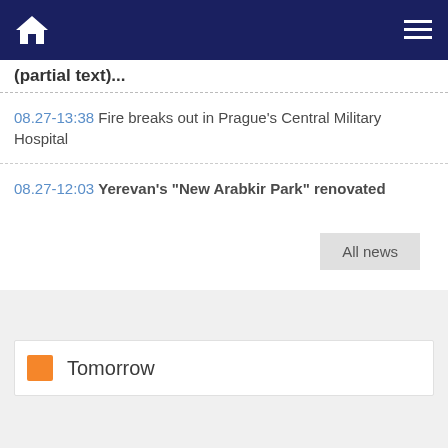Navigation bar with home icon and menu icon
(partial text cut off at top)
08.27-13:38 Fire breaks out in Prague's Central Military Hospital
08.27-12:03 Yerevan's "New Arabkir Park" renovated
All news
Tomorrow